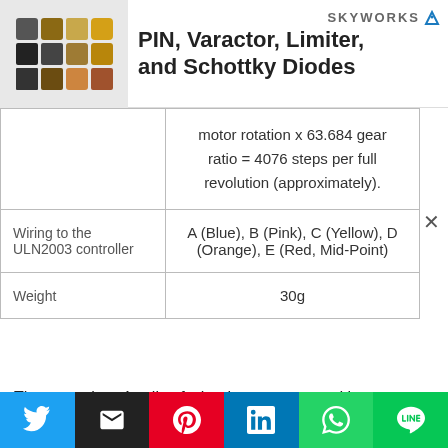[Figure (other): Advertisement banner for Skyworks PIN, Varactor, Limiter, and Schottky Diodes with product images]
|  | motor rotation x 63.684 gear ratio = 4076 steps per full revolution (approximately). |
| Wiring to the ULN2003 controller | A (Blue), B (Pink), C (Yellow), D (Orange), E (Red, Mid-Point) |
| Weight | 30g |
The motor has 4 coils of wire that are powered in a sequence to make the magnetic motor shaft spin. When
[Figure (other): Social sharing bar with Twitter, Email, Pinterest, LinkedIn, WhatsApp, and LINE buttons]